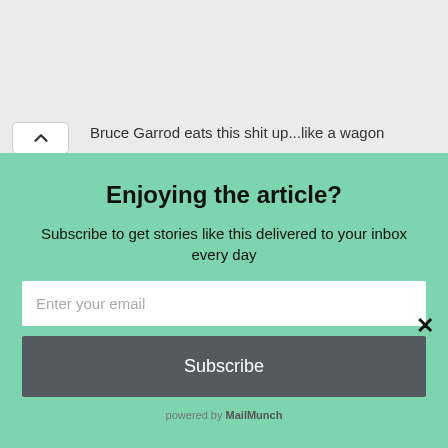Bruce Garrod eats this shit up...like a wagon
Enjoying the article?
Subscribe to get stories like this delivered to your inbox every day
Enter your email
Subscribe
powered by MailMunch